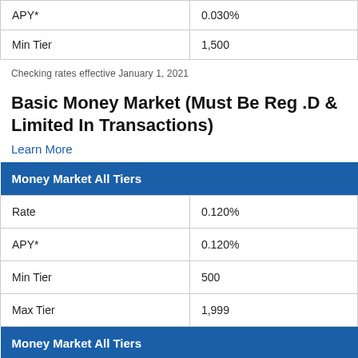|  |  |
| --- | --- |
| APY* | 0.030% |
| Min Tier | 1,500 |
Checking rates effective January 1, 2021
Basic Money Market (Must Be Reg .D & Limited In Transactions)
Learn More
| Money Market All Tiers |  |
| --- | --- |
| Rate | 0.120% |
| APY* | 0.120% |
| Min Tier | 500 |
| Max Tier | 1,999 |
| Money Market All Tiers |  |
| --- | --- |